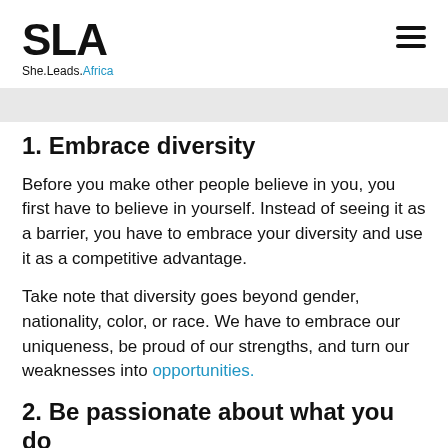SLA She.Leads.Africa
1. Embrace diversity
Before you make other people believe in you, you first have to believe in yourself. Instead of seeing it as a barrier, you have to embrace your diversity and use it as a competitive advantage.
Take note that diversity goes beyond gender, nationality, color, or race. We have to embrace our uniqueness, be proud of our strengths, and turn our weaknesses into opportunities.
2. Be passionate about what you do
When you love what you are doing, you gain the courage to look past the challenges and the